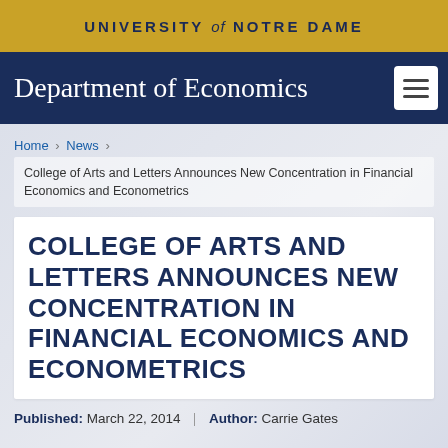UNIVERSITY of NOTRE DAME
Department of Economics
Home › News ›
College of Arts and Letters Announces New Concentration in Financial Economics and Econometrics
COLLEGE OF ARTS AND LETTERS ANNOUNCES NEW CONCENTRATION IN FINANCIAL ECONOMICS AND ECONOMETRICS
Published: March 22, 2014    Author: Carrie Gates